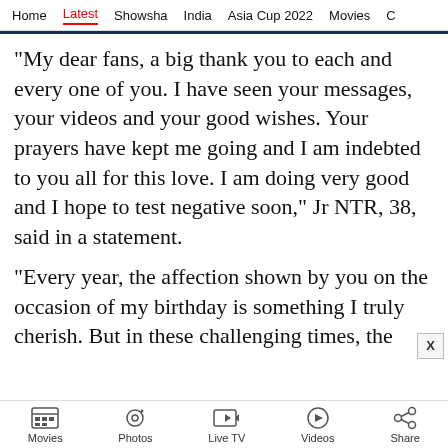Home  Latest  Showsha  India  Asia Cup 2022  Movies  C
“My dear fans, a big thank you to each and every one of you. I have seen your messages, your videos and your good wishes. Your prayers have kept me going and I am indebted to you all for this love. I am doing very good and I hope to test negative soon,” Jr NTR, 38, said in a statement.
“Every year, the affection shown by you on the occasion of my birthday is something I truly cherish. But in these challenging times, the
Movies  Photos  Live TV  Videos  Share